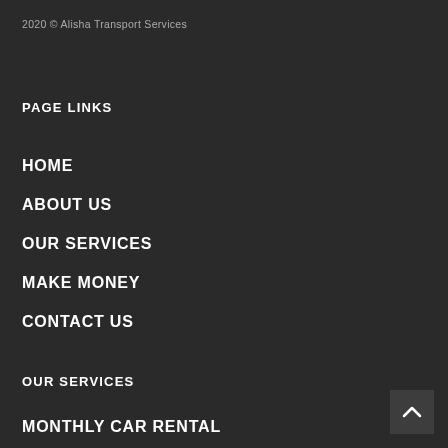2020 © Alisha Transport Services
PAGE LINKS
HOME
ABOUT US
OUR SERVICES
MAKE MONEY
CONTACT US
OUR SERVICES
MONTHLY CAR RENTAL